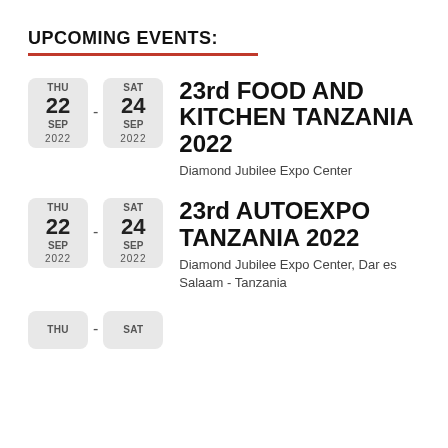UPCOMING EVENTS:
23rd FOOD AND KITCHEN TANZANIA 2022 | THU 22 SEP 2022 - SAT 24 SEP 2022 | Diamond Jubilee Expo Center
23rd AUTOEXPO TANZANIA 2022 | THU 22 SEP 2022 - SAT 24 SEP 2022 | Diamond Jubilee Expo Center, Dar es Salaam - Tanzania
Partial event entry: THU ... SAT ...